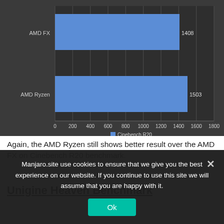[Figure (bar-chart): ]
Again, the AMD Ryzen still shows better result over the AMD FX on Cinebench R20 benchmark.
Unigine Heaven Benchmark
Manjaro.site use cookies to ensure that we give you the best experience on our website. If you continue to use this site we will assume that you are happy with it.